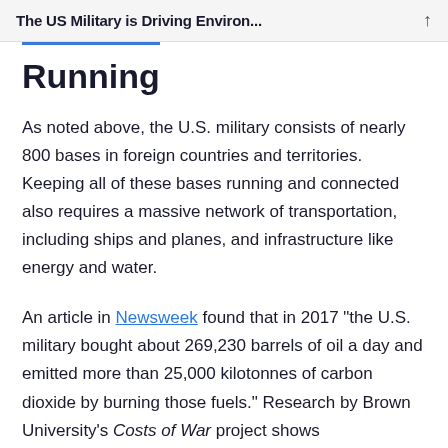The US Military is Driving Environ...
Running
As noted above, the U.S. military consists of nearly 800 bases in foreign countries and territories. Keeping all of these bases running and connected also requires a massive network of transportation, including ships and planes, and infrastructure like energy and water.
An article in Newsweek found that in 2017 "the U.S. military bought about 269,230 barrels of oil a day and emitted more than 25,000 kilotonnes of carbon dioxide by burning those fuels." Research by Brown University's Costs of War project shows